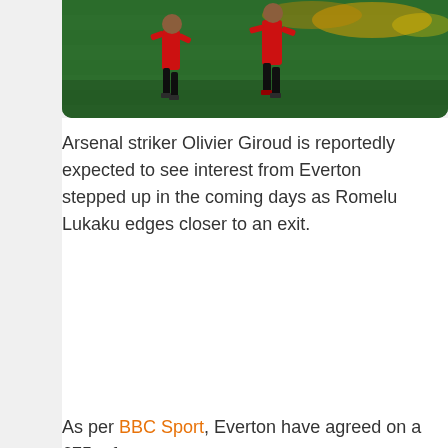[Figure (photo): Football players in red kit running on a green pitch during a night match, with a crowd visible in the background.]
Arsenal striker Olivier Giroud is reportedly expected to see interest from Everton stepped up in the coming days as Romelu Lukaku edges closer to an exit.
As per BBC Sport, Everton have agreed on a £75m fee